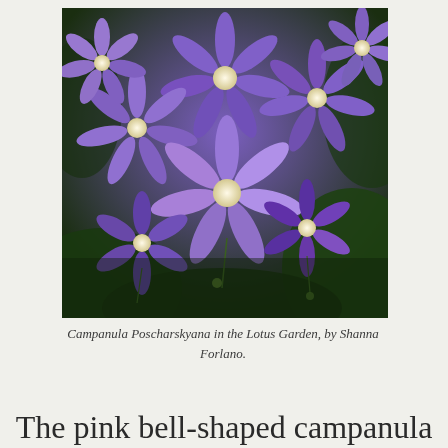[Figure (photo): Close-up photograph of purple Campanula Poscharskyana (bellflower) blooms with star-shaped petals and white centers, set against dark green foliage background.]
Campanula Poscharskyana in the Lotus Garden, by Shanna Forlano.
The pink bell-shaped campanula